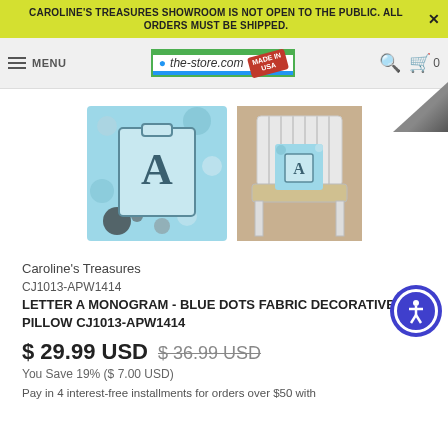CAROLINE'S TREASURES SHOWROOM IS NOT OPEN TO THE PUBLIC. ALL ORDERS MUST BE SHIPPED.
[Figure (screenshot): Navigation bar with hamburger menu, MENU label, the-store.com logo with Made in USA badge, search icon, and cart icon with 0 count]
[Figure (photo): Two product images: a decorative pillow with Letter A monogram on blue dots fabric shown alone, and the same pillow displayed on a white chair outdoors]
Caroline's Treasures
CJ1013-APW1414
LETTER A MONOGRAM - BLUE DOTS FABRIC DECORATIVE PILLOW CJ1013-APW1414
$ 29.99 USD  $ 36.99 USD
You Save 19% ($ 7.00 USD)
Pay in 4 interest-free installments for orders over $50 with